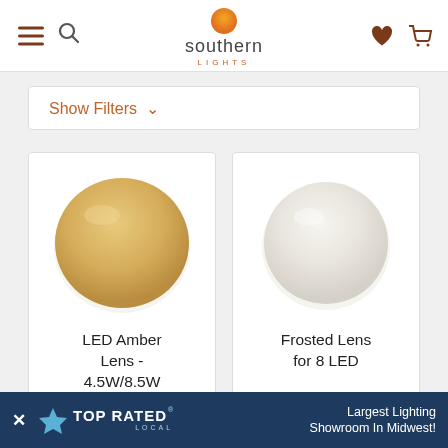Southern Lights — navigation header with hamburger menu, search, logo, heart, and cart icons
Show Filters ∨
[Figure (photo): LED Amber Lens product image — a round golden/amber colored disc lens on white background]
LED Amber Lens - 4.5W/8.5W (10687|158
[Figure (photo): Frosted Lens for 8 LED product image — a round frosted white/cream colored disc lens on white background]
Frosted Lens for 8 LED
× TOP RATED LOCAL® Largest Lighting Showroom In Midwest!